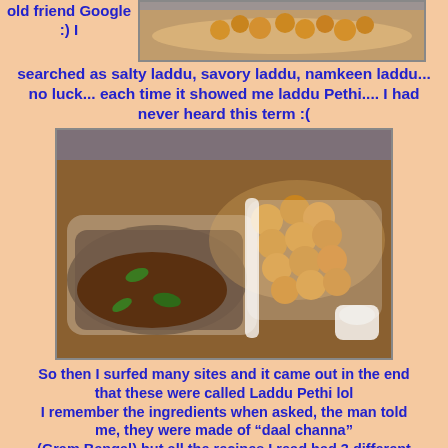old friend Google :) I searched as salty laddu, savory laddu, namkeen laddu... no luck... each time it showed me laddu Pethi.... I had never heard this term :(
[Figure (photo): Photo of fried food items (laddu pethi) on a plate at the top of the page]
[Figure (photo): Photo of Laddu Pethi - fried dough balls served with a dark curry/chutney sauce in a white dish]
So then I surfed many sites and it came out in the end that these were called Laddu Pethi lol I remember the ingredients when asked, the man told me, they were made of "daal channa" (Gram Bengal) but all the recipes I read had 3 different lentils.. No..no...no no.... this is not the right one was my feeling